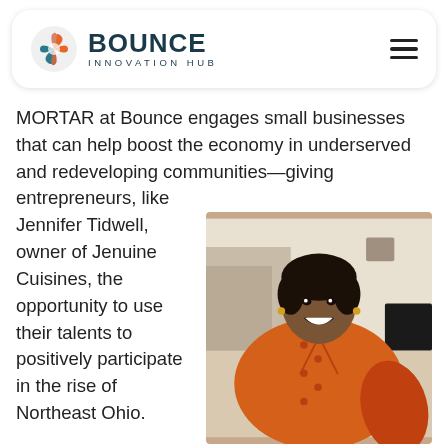[Figure (logo): Bounce Innovation Hub logo with circular icon and text]
MORTAR at Bounce engages small businesses that can help boost the economy in underserved and redeveloping communities—giving entrepreneurs, like Jennifer Tidwell, owner of Jenuine Cuisines, the opportunity to use their talents to positively participate in the rise of Northeast Ohio.
[Figure (photo): Jennifer Tidwell, a woman wearing an orange chef's jacket, smiling at the camera in an indoor setting]
“I am truly